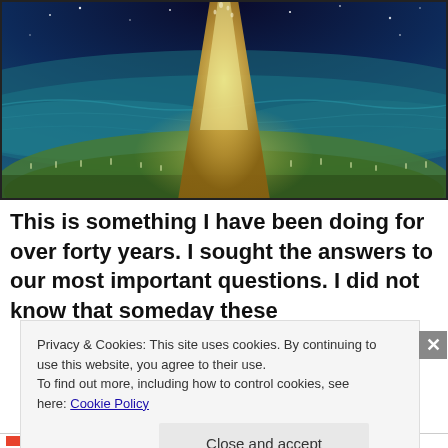[Figure (illustration): A mystical painting of a glowing tree of life with golden trunk rising from green earth into a dark starry blue sky, with small human figures along the roots and branches, painted in blues, greens, and golds.]
This is something I have been doing for over forty years. I sought the answers to our most important questions. I did not know that someday these
Privacy & Cookies: This site uses cookies. By continuing to use this website, you agree to their use. To find out more, including how to control cookies, see here: Cookie Policy
Close and accept